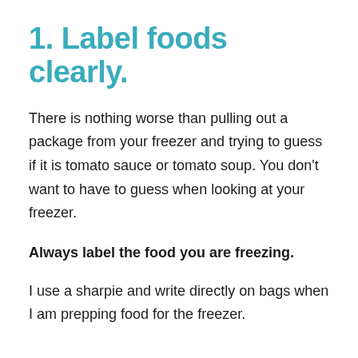1. Label foods clearly.
There is nothing worse than pulling out a package from your freezer and trying to guess if it is tomato sauce or tomato soup. You don't want to have to guess when looking at your freezer.
Always label the food you are freezing.
I use a sharpie and write directly on bags when I am prepping food for the freezer.